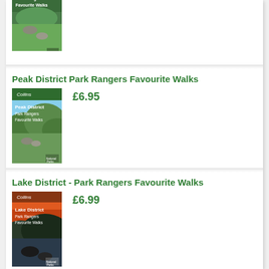[Figure (illustration): Partial book cover showing Park Rangers Favourite Walks with grassy hills scene, cropped at top]
Peak District Park Rangers Favourite Walks
[Figure (illustration): Book cover: Peak District Park Rangers Favourite Walks by Collins, showing green hills landscape with rocks in foreground]
£6.95
Lake District - Park Rangers Favourite Walks
[Figure (illustration): Book cover: Lake District Park Rangers Favourite Walks by Collins, showing sunset over dark hills with lake reflection and rocks]
£6.99
Broads - Park Rangers Favourite Walks
[Figure (illustration): Partial book cover for Broads Park Rangers Favourite Walks, water/reeds scene, cropped at bottom]